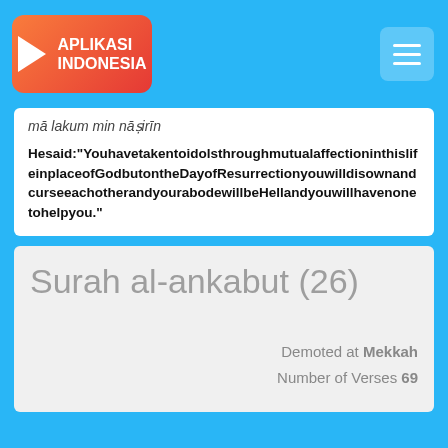APLIKASI INDONESIA
mā lakum min nāṣirīn
He said: "You have taken to idols through mutual affection in this life in place of God but on the Day of Resurrection you will disown and curse each other and your abode will be Hell and you will have none to help you."
Surah al-ankabut (26)
Demoted at Mekkah
Number of Verses 69